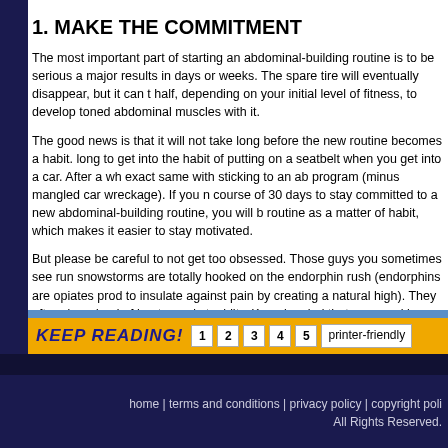1. MAKE THE COMMITMENT
The most important part of starting an abdominal-building routine is to be serious a major results in days or weeks. The spare tire will eventually disappear, but it can t half, depending on your initial level of fitness, to develop toned abdominal muscles with it.
The good news is that it will not take long before the new routine becomes a habit. long to get into the habit of putting on a seatbelt when you get into a car. After a wh exact same with sticking to an ab program (minus mangled car wreckage). If you n course of 30 days to stay committed to a new abdominal-building routine, you will b routine as a matter of habit, which makes it easier to stay motivated.
But please be careful to not get too obsessed. Those guys you sometimes see run snowstorms are totally hooked on the endorphin rush (endorphins are opiates prod to insulate against pain by creating a natural high). They often drop dead of heat e and stupidity. Keep in mind that your goal is mostly aesthetic, and you should not l your life.
KEEP READING! 1 2 3 4 5 printer-friendly
home | terms and conditions | privacy policy | copyright poli
All Rights Reserved.